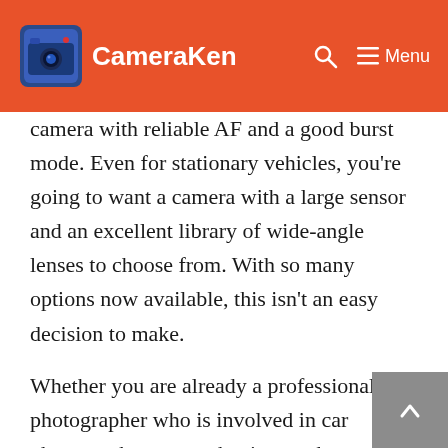CameraKen
camera with reliable AF and a good burst mode. Even for stationary vehicles, you're going to want a camera with a large sensor and an excellent library of wide-angle lenses to choose from. With so many options now available, this isn't an easy decision to make.
Whether you are already a professional photographer who is involved in car photography or are a beginner who wants to learn automotive photography or someone who has recently developed an interest in capturing cars, if you're finding out a difficulty in figuring